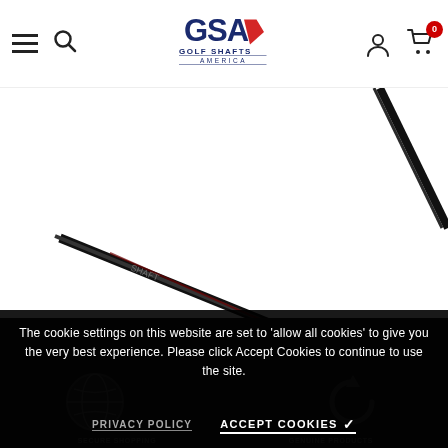GSA Golf Shafts America — navigation header with hamburger menu, search, logo, account, and cart (0 items)
[Figure (photo): Two black golf shafts shown diagonally on a white background — one in the upper right corner and one spanning lower left to center]
[Figure (infographic): Dark background section with globe icon and circular-arrow icon representing worldwide shipping and returns policy]
The cookie settings on this website are set to 'allow all cookies' to give you the very best experience. Please click Accept Cookies to continue to use the site.
PRIVACY POLICY
ACCEPT COOKIES ✓
SECURE SHOPPING
GENUINE PRODUCTS